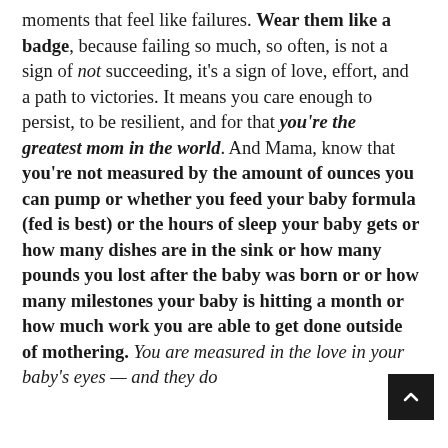moments that feel like failures. Wear them like a badge, because failing so much, so often, is not a sign of not succeeding, it's a sign of love, effort, and a path to victories. It means you care enough to persist, to be resilient, and for that you're the greatest mom in the world. And Mama, know that you're not measured by the amount of ounces you can pump or whether you feed your baby formula (fed is best) or the hours of sleep your baby gets or how many dishes are in the sink or how many pounds you lost after the baby was born or or how many milestones your baby is hitting a month or how much work you are able to get done outside of mothering. You are measured in the love in your baby's eyes — and they do